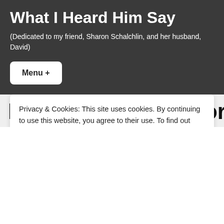What I Heard Him Say
(Dedicated to my friend, Sharon Schalchlin, and her husband, David)
Menu +
In Dying To This World
Privacy & Cookies: This site uses cookies. By continuing to use this website, you agree to their use. To find out more, including how to control cookies, see here: Cookie Policy
Close and accept